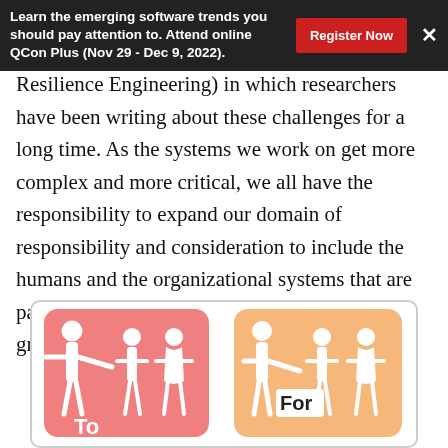Learn the emerging software trends you should pay attention to. Attend online QCon Plus (Nov 29 - Dec 9, 2022).
Resilience Engineering) in which researchers have been writing about these challenges for a long time. As the systems we work on get more complex and more critical, we all have the responsibility to expand our domain of responsibility and consideration to include the humans and the organizational systems that are part of our work. The tips in this article are a great place to start.
[Figure (illustration): Two illustrated icons side by side on a light background with rounded rectangle borders. Left icon has a pink/red background showing a figure pointing at two people with label 'To'. Right icon has an orange/peach background showing a figure with arm around two people with label 'For'.]